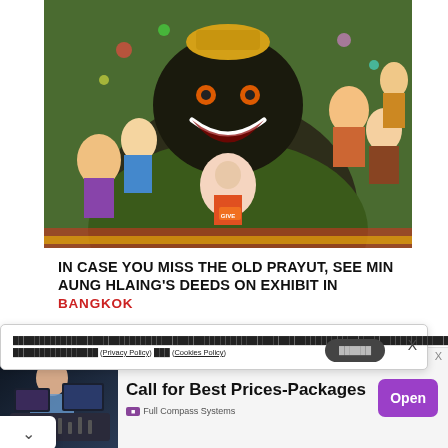[Figure (illustration): Colorful illustration showing a large dark bear-like figure in green military coat with a grinning face and gold headpiece, holding smaller figures. Background has various other illustrated characters.]
IN CASE YOU MISS THE OLD PRAYUT, SEE MIN AUNG HLAING'S DEEDS ON EXHIBIT IN BANGKOK
xxxxxxxxxxxxxxxxxxxxxxxxxxxxxxxxxxxxxxxxxxxxxxxxxxxxxxxxxxxxxxxxxxxxxxxxxxxxxxxxxxxxxxxxxxxxxxxxxxxxxxxxxxxxxxxxxxxxxxxxxxxxxxxxxxxxxxxxxxxxxxxxxxxxxxxxxxxxxxxxxxxxxxxxx (Privacy Policy) xxx (Cookies Policy)
[Figure (photo): Night photo of city skyline with tall buildings and blue-tinted lighting, appears to be Bangkok.]
[Figure (photo): Advertisement image showing a person at an audio mixing console/studio equipment.]
Call for Best Prices-Packages
Full Compass Systems